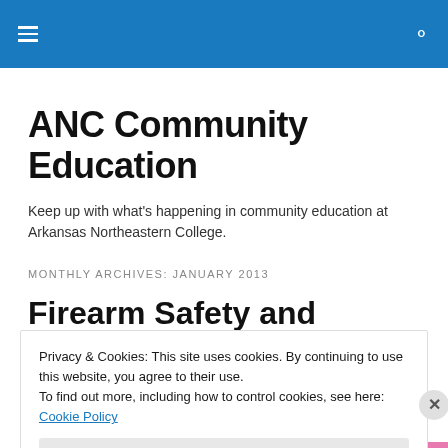ANC Community Education — site navigation header
ANC Community Education
Keep up with what's happening in community education at Arkansas Northeastern College.
MONTHLY ARCHIVES: JANUARY 2013
Firearm Safety and
Privacy & Cookies: This site uses cookies. By continuing to use this website, you agree to their use.
To find out more, including how to control cookies, see here: Cookie Policy
Close and accept